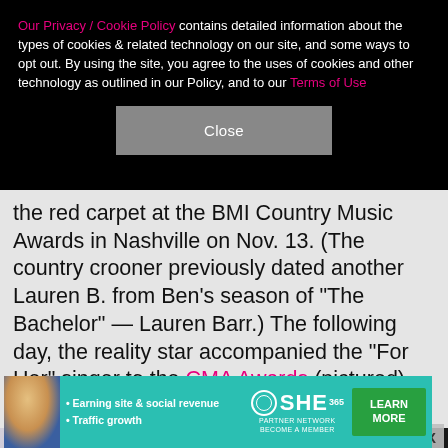Our Privacy / Cookie Policy contains detailed information about the types of cookies & related technology on our site, and some ways to opt out. By using the site, you agree to the uses of cookies and other technology as outlined in our Policy, and to our Terms of Use
Close
the red carpet at the BMI Country Music Awards in Nashville on Nov. 13. (The country crooner previously dated another Lauren B. from Ben's season of "The Bachelor" — Lauren Barr.) The following day, the reality star accompanied the "For Her" singer to the CMA Awards (pictured).
[Figure (photo): Partial view of a person with blonde hair against a light background, cropped at bottom]
[Figure (photo): White boots or shoes with a star detail against a dark background]
[Figure (infographic): Advertisement banner for SHE PARTNER NETWORK with teal background, woman photo, bullet points about Earning site & social revenue and Traffic growth, SHE logo, and LEARN MORE button]